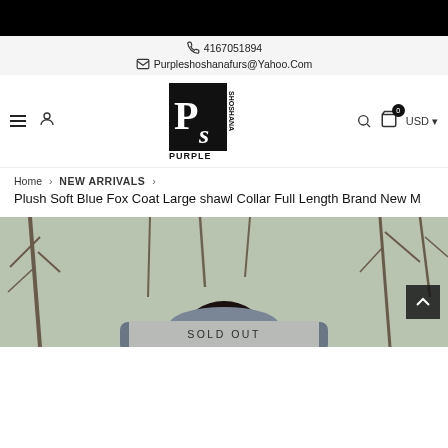4167051894 | Purpleshoshanafurs@Yahoo.Com
[Figure (logo): Purple Shoshana fur store logo — black square with stylized PS letters and PURPLE SHOSHANA text]
Home › NEW ARRIVALS ›
Plush Soft Blue Fox Coat Large shawl Collar Full Length Brand New M
[Figure (photo): Outdoor photo of a person wearing a large blue fox fur coat, trees in background, partly cropped]
SOLD OUT